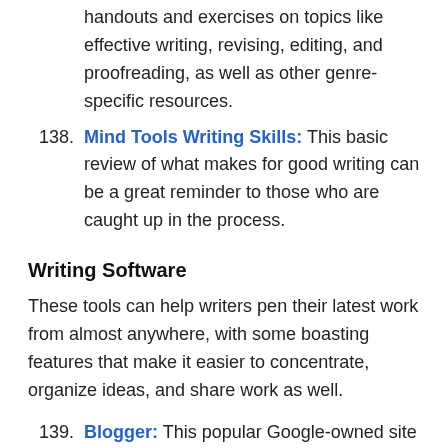handouts and exercises on topics like effective writing, revising, editing, and proofreading, as well as other genre-specific resources.
138. Mind Tools Writing Skills: This basic review of what makes for good writing can be a great reminder to those who are caught up in the process.
Writing Software
These tools can help writers pen their latest work from almost anywhere, with some boasting features that make it easier to concentrate, organize ideas, and share work as well.
139. Blogger: This popular Google-owned site is a great place to start your own blog for free.